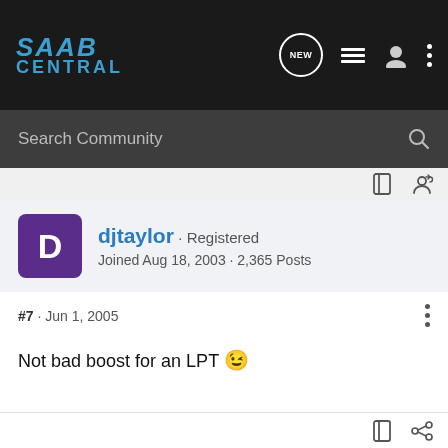SAAB CENTRAL
Search Community
djtaylor · Registered
Joined Aug 18, 2003 · 2,365 Posts
#7 · Jun 1, 2005
Not bad boost for an LPT 😉